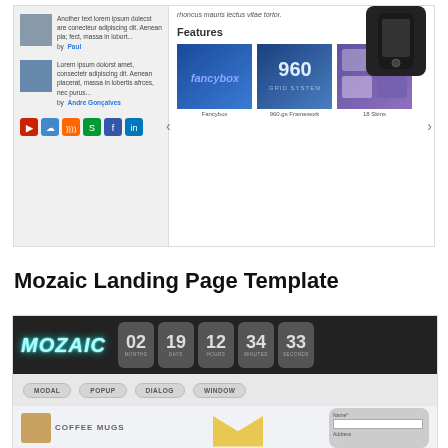[Figure (screenshot): Screenshot of a website template showing a comments/social section on the left with two commenter avatars and social icons, and a Features section on the right with three feature thumbnails: Fancybox, 960gs Framework, 18 Skins. A smartphone is partially visible in the top right corner.]
Mozaic Landing Page Template
[Figure (screenshot): Screenshot of the Mozaic Landing Page Template showing a dark header with the MOZAIC logo and a countdown flip clock showing 02 MONTHS, 19 DAYS, 12 HOURS, 34 MINUTES, 33 SECONDS. Below are pill-shaped navigation buttons: MODAL, POPUP, DIALOG, WINDOW. The bottom shows a Coffee Mugs section, an envelope graphic, and a sign-up form.]